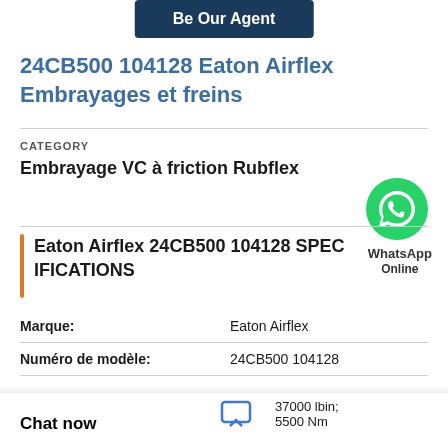Be Our Agent
24CB500 104128 Eaton Airflex Embrayages et freins
CATEGORY
Embrayage VC à friction Rubflex
[Figure (logo): WhatsApp icon and label]
Eaton Airflex 24CB500 104128 SPECIFICATIONS
| Property | Value |
| --- | --- |
| Marque: | Eaton Airflex |
| Numéro de modèle: | 24CB500 104128 |
|  | 37000 lbin; 5500 Nm |
Chat now